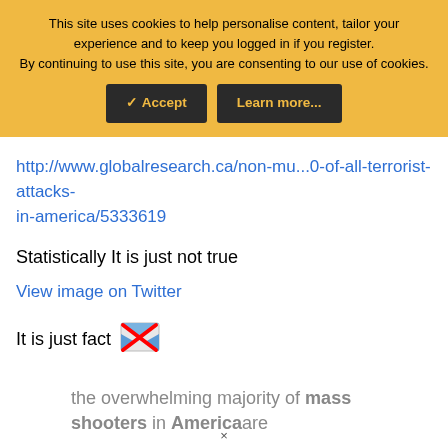This site uses cookies to help personalise content, tailor your experience and to keep you logged in if you register.
By continuing to use this site, you are consenting to our use of cookies.
✓ Accept | Learn more...
http://www.globalresearch.ca/non-mu...0-of-all-terrorist-attacks-in-america/5333619
Statistically It is just not true
View image on Twitter
It is just fact 🖼️❌
the overwhelming majority of mass shooters in Americaare
×